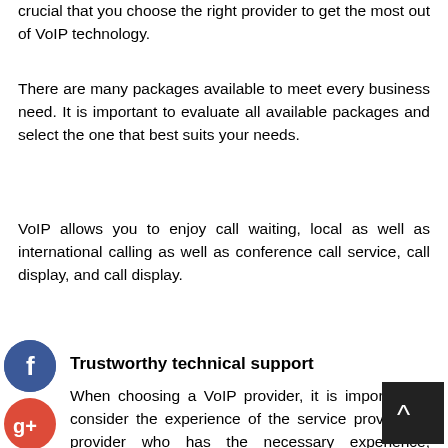crucial that you choose the right provider to get the most out of VoIP technology.
There are many packages available to meet every business need. It is important to evaluate all available packages and select the one that best suits your needs.
VoIP allows you to enjoy call waiting, local as well as international calling as well as conference call service, call display, and call display.
Trustworthy technical support
When choosing a VoIP provider, it is important to consider the experience of the service provider. A provider who has the necessary experience, knowledge, and technical expertise to set up a reliable telecommunications system is essential.